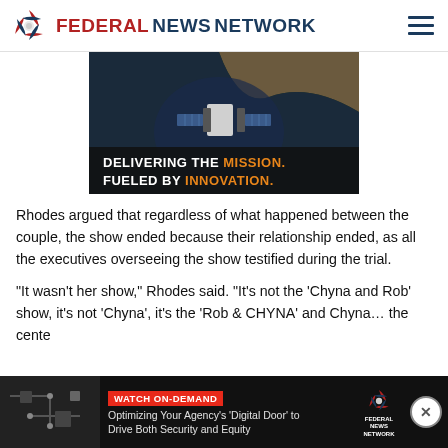FEDERAL NEWS NETWORK
[Figure (photo): Advertisement image showing a satellite in orbit above Earth with text 'DELIVERING THE MISSION. FUELED BY INNOVATION.' on a dark background.]
Rhodes argued that regardless of what happened between the couple, the show ended because their relationship ended, as all the executives overseeing the show testified during the trial.
“It wasn’t her show,” Rhodes said. “It’s not the ‘Chyna and Rob’ show, it’s not ‘Chyna’, it’s the ‘Rob & CHYNA’ and Chyna… the center…
[Figure (screenshot): Bottom banner advertisement: WATCH ON-DEMAND. Optimizing Your Agency's 'Digital Door' to Drive Both Security and Equity. Federal News Network logo.]